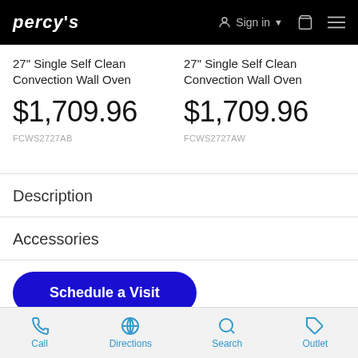PERCY'S — Sign in — Cart — Menu
27" Single Self Clean Convection Wall Oven
$1,709.96
FCWS2727AB
27" Single Self Clean Convection Wall Oven
$1,709.96
FCWS2727AW
Description
Accessories
Schedule a Visit
Call  Directions  Search  Outlet